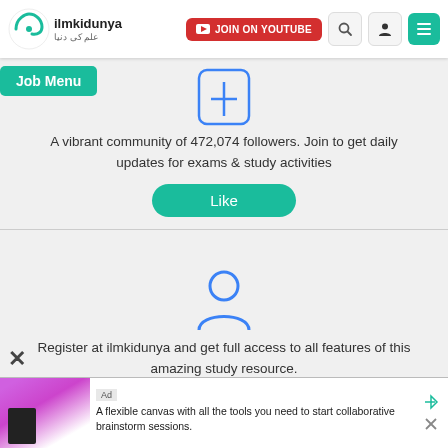ilmkidunya — JOIN ON YOUTUBE
Job Menu
A vibrant community of 472,074 followers. Join to get daily updates for exams & study activities
Like
Register at ilmkidunya and get full access to all features of this amazing study resource.
Register
Ad — A flexible canvas with all the tools you need to start collaborative brainstorm sessions.